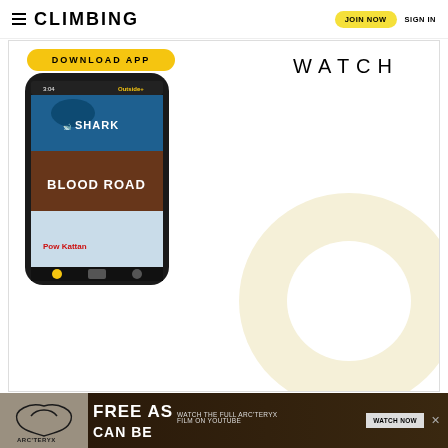CLIMBING | JOIN NOW | SIGN IN
[Figure (screenshot): Outside+ app promotion card with DOWNLOAD APP button, WATCH label, phone mockup showing app content (SHARK, BLOOD ROAD, skiing film), and large decorative O letter on cream background]
[Figure (other): Arc'teryx advertisement banner: FREE AS CAN BE with WATCH NOW button and close X, showing Arc'teryx logo on left and outdoor/forest background on right]